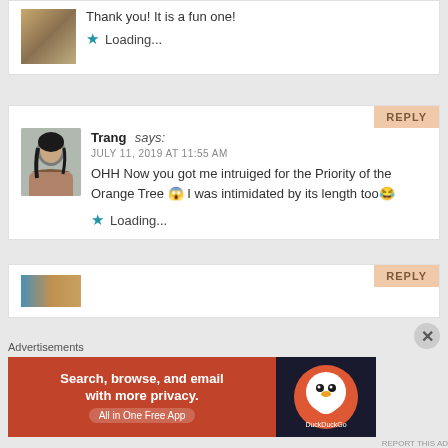Thank you! It is a fun one!
★ Loading...
REPLY
Trang says: JULY 11, 2019 AT 11:55 AM OHH Now you got me intruiged for the Priority of the Orange Tree 😱 I was intimidated by its length too😂
★ Loading...
REPLY
Advertisements
[Figure (screenshot): DuckDuckGo advertisement banner: orange background left side with text 'Search, browse, and email with more privacy. All in One Free App', dark right side with DuckDuckGo duck logo]